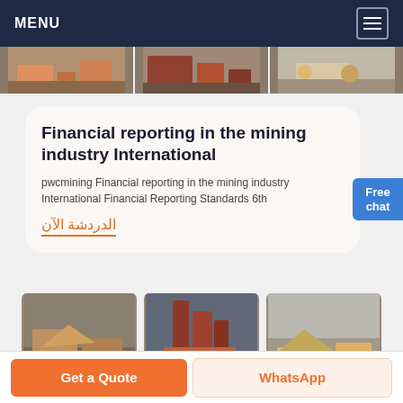MENU
[Figure (photo): Three horizontal strip photos of mining/industrial equipment]
Financial reporting in the mining industry International
pwcmining Financial reporting in the mining industry International Financial Reporting Standards 6th
الدردشة الآن
[Figure (photo): Free chat widget showing a woman figure with 'Free chat' label]
[Figure (photo): Three photos of mining sites and industrial equipment]
Get a Quote
WhatsApp